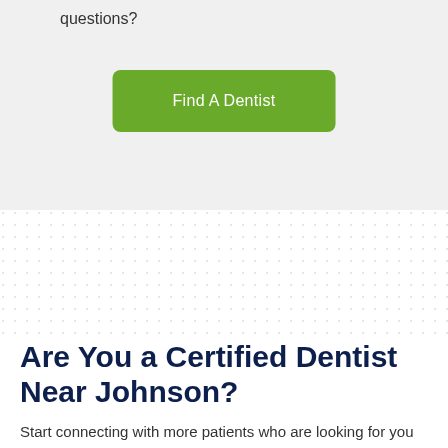questions?
Find A Dentist
[Figure (other): Decorative dot pattern background section]
Are You a Certified Dentist Near Johnson?
Start connecting with more patients who are looking for you online. Dental Directory is the #1 dentist directory in the U.S., showcasing the nation's leading dental professionals in all major